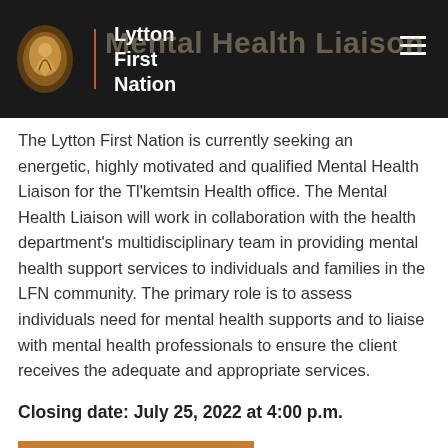Lytton First Nation
Mental Health Liaison
The Lytton First Nation is currently seeking an energetic, highly motivated and qualified Mental Health Liaison for the Tl'kemtsin Health office. The Mental Health Liaison will work in collaboration with the health department's multidisciplinary team in providing mental health support services to individuals and families in the LFN community. The primary role is to assess individuals need for mental health supports and to liaise with mental health professionals to ensure the client receives the adequate and appropriate services.
Closing date: July 25, 2022 at 4:00 p.m.
FIND OUT MORE